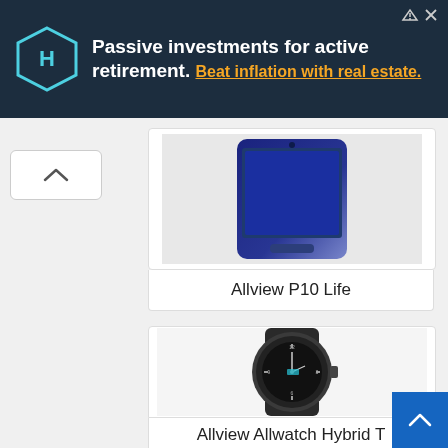[Figure (screenshot): Advertisement banner: dark navy background with hexagonal logo icon on left. Text: 'Passive investments for active retirement. Beat inflation with real estate.' with ad icons top right.]
[Figure (screenshot): Scroll-up chevron button in white rounded box on left side]
[Figure (photo): Product card showing Allview P10 Life smartphone with blue/navy color on a white card background]
Allview P10 Life
[Figure (photo): Product card showing Allview Allwatch Hybrid T smartwatch with dark/black color on white card background]
Allview Allwatch Hybrid T
[Figure (screenshot): Blue scroll-to-top button with chevron icon in bottom right corner]